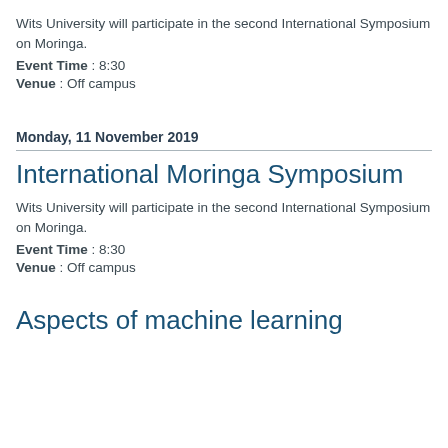Wits University will participate in the second International Symposium on Moringa.
Event Time : 8:30
Venue : Off campus
Monday, 11 November 2019
International Moringa Symposium
Wits University will participate in the second International Symposium on Moringa.
Event Time : 8:30
Venue : Off campus
Aspects of machine learning